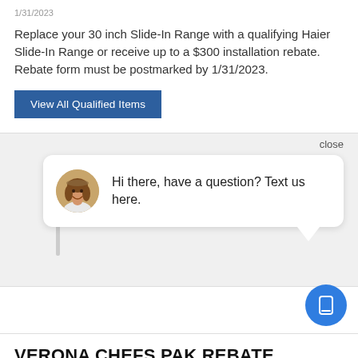1/31/2023
Replace your 30 inch Slide-In Range with a qualifying Haier Slide-In Range or receive up to a $300 installation rebate. Rebate form must be postmarked by 1/31/2023.
View All Qualified Items
close
[Figure (photo): Chat widget with avatar photo of a woman smiling, with message: Hi there, have a question? Text us here.]
Hi there, have a question? Text us here.
VERONA CHEFS PAK REBATE